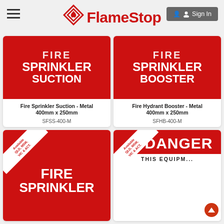[Figure (logo): FlameStop logo with red flame icon and red bold text]
[Figure (photo): Fire Sprinkler Suction red metal sign with white bold text]
Fire Sprinkler Suction - Metal 400mm x 250mm
SFSS-400-M
[Figure (photo): Fire Hydrant Booster red metal sign with white bold text]
Fire Hydrant Booster - Metal 400mm x 250mm
SFHB-400-M
[Figure (photo): Fire Sprinkler red metal sign with Available QLD, NSW, VIC & ACT. ribbon, partially visible]
[Figure (photo): Danger red sign with Available QLD, NSW, VIC & ACT. ribbon, partially visible, showing DANGER and THIS EQUIPMENT text]